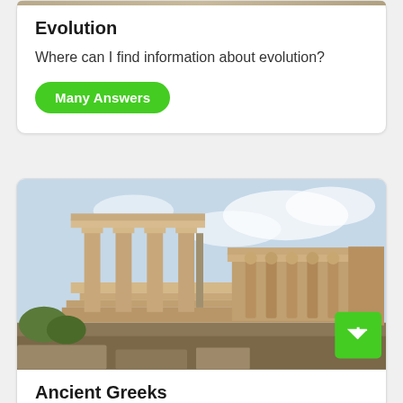Evolution
Where can I find information about evolution?
Many Answers
[Figure (photo): Photograph of the Erechtheion on the Acropolis of Athens, showing ancient Greek columns and caryatid porch with blue cloudy sky background]
Ancient Greeks